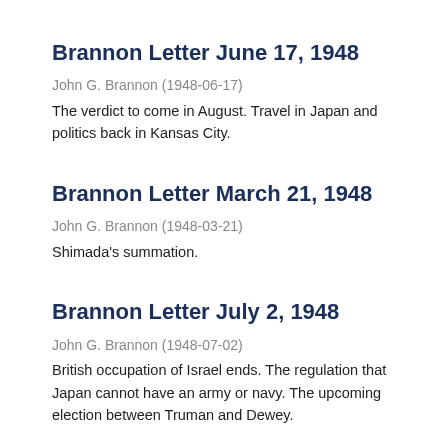Brannon Letter June 17, 1948
John G. Brannon (1948-06-17)
The verdict to come in August. Travel in Japan and politics back in Kansas City.
Brannon Letter March 21, 1948
John G. Brannon (1948-03-21)
Shimada's summation.
Brannon Letter July 2, 1948
John G. Brannon (1948-07-02)
British occupation of Israel ends. The regulation that Japan cannot have an army or navy. The upcoming election between Truman and Dewey.